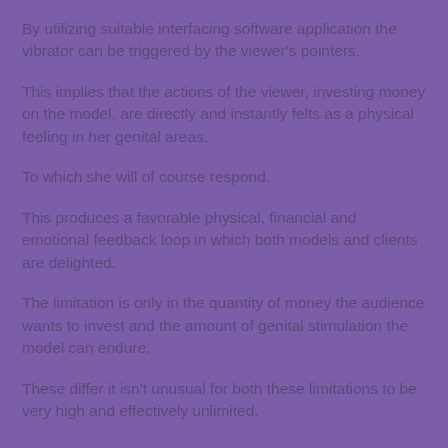By utilizing suitable interfacing software application the vibrator can be triggered by the viewer's pointers.
This implies that the actions of the viewer, investing money on the model, are directly and instantly felts as a physical feeling in her genital areas.
To which she will of course respond.
This produces a favorable physical, financial and emotional feedback loop in which both models and clients are delighted.
The limitation is only in the quantity of money the audience wants to invest and the amount of genital stimulation the model can endure.
These differ it isn't unusual for both these limitations to be very high and effectively unlimited.